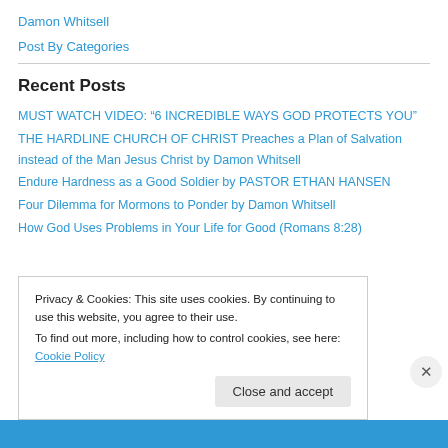Damon Whitsell
Post By Categories
Recent Posts
MUST WATCH VIDEO: “6 INCREDIBLE WAYS GOD PROTECTS YOU”
THE HARDLINE CHURCH OF CHRIST Preaches a Plan of Salvation instead of the Man Jesus Christ by Damon Whitsell
Endure Hardness as a Good Soldier by PASTOR ETHAN HANSEN
Four Dilemma for Mormons to Ponder by Damon Whitsell
How God Uses Problems in Your Life for Good (Romans 8:28)
Privacy & Cookies: This site uses cookies. By continuing to use this website, you agree to their use.
To find out more, including how to control cookies, see here: Cookie Policy
Close and accept